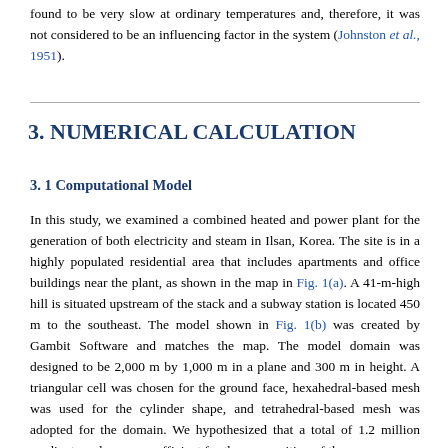found to be very slow at ordinary temperatures and, therefore, it was not considered to be an influencing factor in the system (Johnston et al., 1951).
3. NUMERICAL CALCULATION
3. 1 Computational Model
In this study, we examined a combined heated and power plant for the generation of both electricity and steam in Ilsan, Korea. The site is in a highly populated residential area that includes apartments and office buildings near the plant, as shown in the map in Fig. 1(a). A 41-m-high hill is situated upstream of the stack and a subway station is located 450 m to the southeast. The model shown in Fig. 1(b) was created by Gambit Software and matches the map. The model domain was designed to be 2,000 m by 1,000 m in a plane and 300 m in height. A triangular cell was chosen for the ground face, hexahedral-based mesh was used for the cylinder shape, and tetrahedral-based mesh was adopted for the domain. We hypothesized that a total of 1.2 million gradient meshes were sufficient for the composition of the